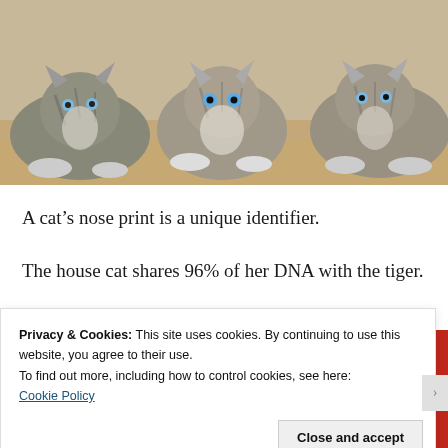[Figure (photo): Three tabby kittens with blue eyes lying side by side on a wooden floor, looking toward the camera.]
A cat's nose print is a unique identifier.
The house cat shares 96% of her DNA with the tiger.
[Figure (screenshot): Red banner advertisement with white text reading 'the web ours, and everyone else's.' with a 'Start reading' button.]
Privacy & Cookies: This site uses cookies. By continuing to use this website, you agree to their use.
To find out more, including how to control cookies, see here:
Cookie Policy
Close and accept